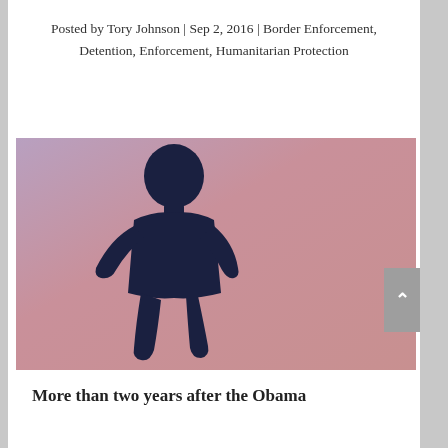Posted by Tory Johnson | Sep 2, 2016 | Border Enforcement, Detention, Enforcement, Humanitarian Protection
[Figure (photo): Silhouette of a young child standing against a purple-pink gradient sky background]
More than two years after the Obama